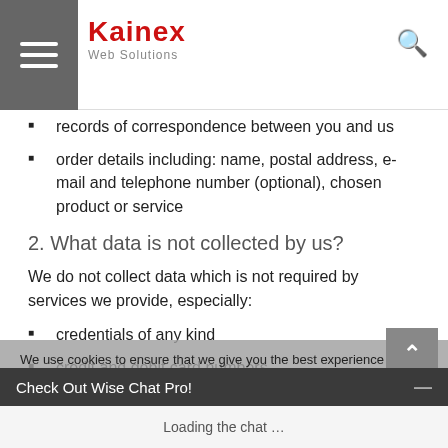Kainex Web Solutions
records of correspondence between you and us
order details including: name, postal address, e-mail and telephone number (optional), chosen product or service
2. What data is not collected by us?
We do not collect data which is not required by services we provide, especially:
credentials of any kind
credit and debit card numbers
social security numbers
medical data
tax and fiscal information
We use cookies to ensure that we give you the best experience on our website. If you continue to use this site we will assume that you are happy with it.
Check Out Wise Chat Pro!
Loading the chat …